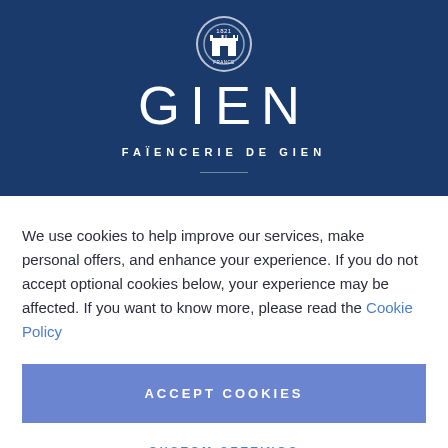[Figure (logo): Gien Faïencerie de Gien logo — white castle icon in circular border with '1821 FRANCE' text, large GIEN lettering, and 'FAÏENCERIE DE GIEN' subtitle, all on dark navy blue background]
We use cookies to help improve our services, make personal offers, and enhance your experience. If you do not accept optional cookies below, your experience may be affected. If you want to know more, please read the Cookie Policy
ACCEPT COOKIES
CUSTOM SETTINGS